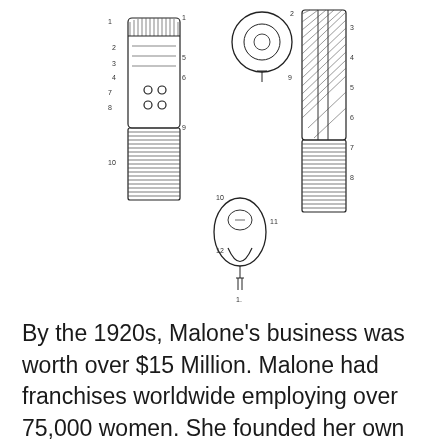[Figure (schematic): Patent engineering schematic drawing showing mechanical parts — two elongated cylindrical/barrel components (left and right), a circular ring/eyelet component (top center), a teardrop/oval shaped component (bottom center), and a small hanging element at the bottom. Multiple reference numerals are labeled throughout the diagram. The style is a classic black-and-white patent illustration.]
By the 1920s, Malone's business was worth over $15 Million. Malone had franchises worldwide employing over 75,000 women. She founded her own line of beauty schools called Poro College in 1917, based in St. Louis, MO, which served to train sales associates not only on hair care products, but also on social issues. Malone was very generous with her fortunes as well, supporting